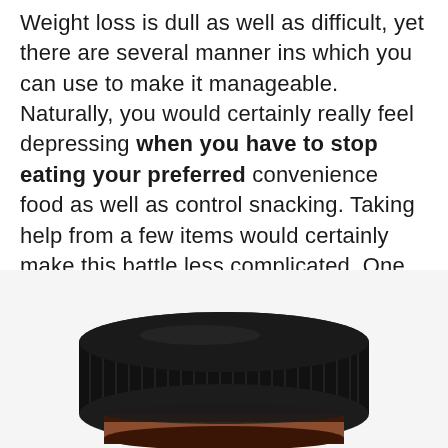Weight loss is dull as well as difficult, yet there are several manner ins which you can use to make it manageable. Naturally, you would certainly really feel depressing when you have to stop eating your preferred convenience food as well as control snacking. Taking help from a few items would certainly make this battle less complicated. One of these items is the LeanBiome nutritional blend, a weight reduction supplement made with 100% all-natural active ingredients.
[Figure (photo): A dark amber/black supplement bottle with a black ribbed screw-top lid, photographed from above at an angle showing the top and upper side of the jar.]